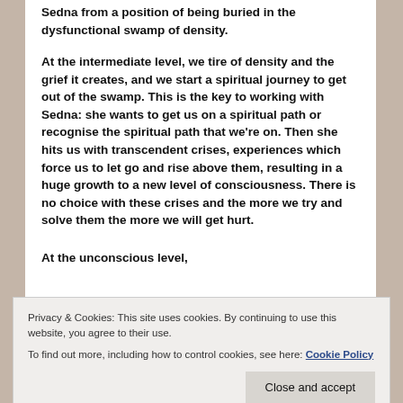Sedna from a position of being buried in the dysfunctional swamp of density.
At the intermediate level, we tire of density and the grief it creates, and we start a spiritual journey to get out of the swamp. This is the key to working with Sedna: she wants to get us on a spiritual path or recognise the spiritual path that we're on. Then she hits us with transcendent crises, experiences which force us to let go and rise above them, resulting in a huge growth to a new level of consciousness. There is no choice with these crises and the more we try and solve them the more we will get hurt.
At the unconscious level,
Privacy & Cookies: This site uses cookies. By continuing to use this website, you agree to their use.
To find out more, including how to control cookies, see here: Cookie Policy
Caught in quicksand